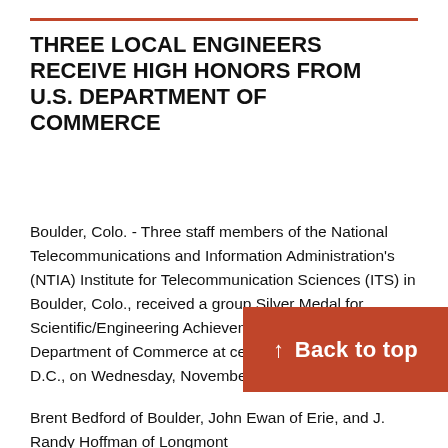THREE LOCAL ENGINEERS RECEIVE HIGH HONORS FROM U.S. DEPARTMENT OF COMMERCE
Boulder, Colo. - Three staff members of the National Telecommunications and Information Administration's (NTIA) Institute for Telecommunication Sciences (ITS) in Boulder, Colo., received a group Silver Medal for Scientific/Engineering Achievement from the U.S. Department of Commerce at ceremonies in Washington, D.C., on Wednesday, November
Brent Bedford of Boulder, John Ewan of Erie, and J. Randy Hoffman of Longmont